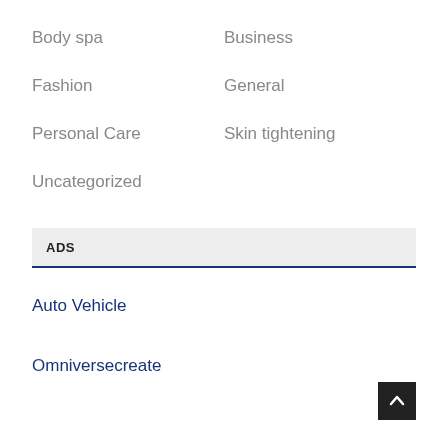Body spa
Business
Fashion
General
Personal Care
Skin tightening
Uncategorized
ADS
Auto Vehicle
Omniversecreate